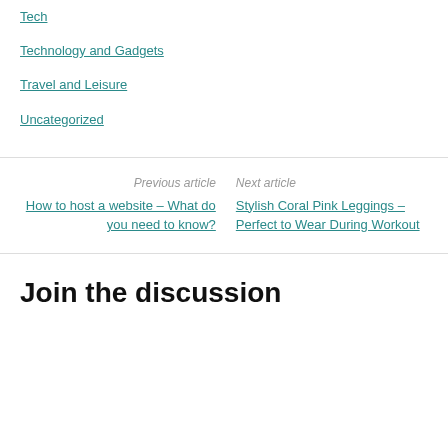Tech
Technology and Gadgets
Travel and Leisure
Uncategorized
Previous article
How to host a website – What do you need to know?
Next article
Stylish Coral Pink Leggings – Perfect to Wear During Workout
Join the discussion